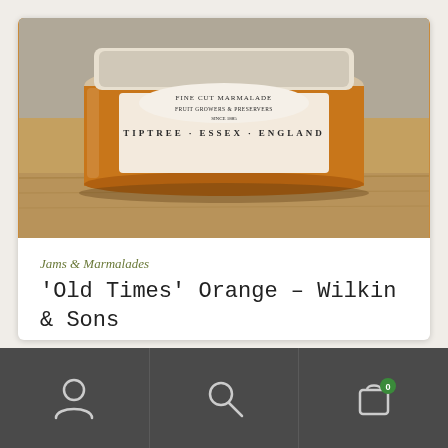[Figure (photo): A jar of Tiptree 'Old Times' orange marmalade from Wilkin & Sons, Essex, England. The jar shows a label reading TIPTREE ESSEX ENGLAND with orange marmalade visible through the glass.]
Jams & Marmalades
'Old Times' Orange – Wilkin & Sons
$11.95